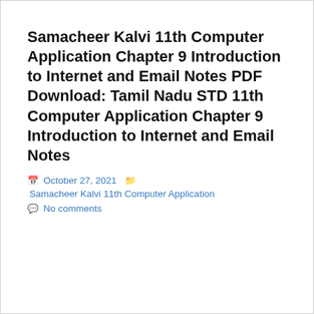Samacheer Kalvi 11th Computer Application Chapter 9 Introduction to Internet and Email Notes PDF Download: Tamil Nadu STD 11th Computer Application Chapter 9 Introduction to Internet and Email Notes
October 27, 2021   Samacheer Kalvi 11th Computer Application   No comments